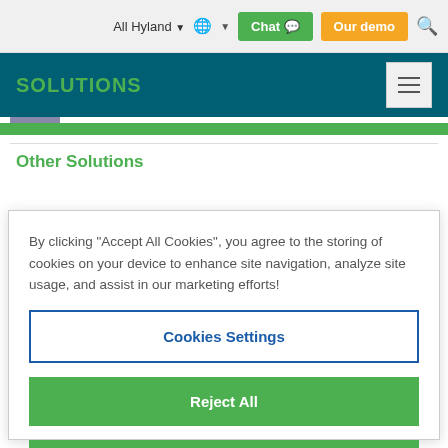All Hyland  |  [globe icon]  |  Chat  |  Our demo  |  [search]
SOLUTIONS
Other Solutions
By clicking "Accept All Cookies", you agree to the storing of cookies on your device to enhance site navigation, analyze site usage, and assist in our marketing efforts!
Cookies Settings
Reject All
Accept All Cookies